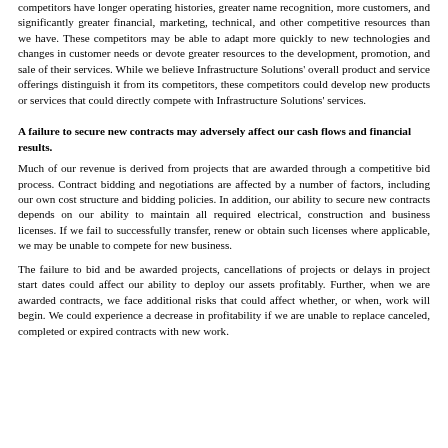competitors have longer operating histories, greater name recognition, more customers, and significantly greater financial, marketing, technical, and other competitive resources than we have. These competitors may be able to adapt more quickly to new technologies and changes in customer needs or devote greater resources to the development, promotion, and sale of their services. While we believe Infrastructure Solutions' overall product and service offerings distinguish it from its competitors, these competitors could develop new products or services that could directly compete with Infrastructure Solutions' services.
A failure to secure new contracts may adversely affect our cash flows and financial results.
Much of our revenue is derived from projects that are awarded through a competitive bid process. Contract bidding and negotiations are affected by a number of factors, including our own cost structure and bidding policies. In addition, our ability to secure new contracts depends on our ability to maintain all required electrical, construction and business licenses. If we fail to successfully transfer, renew or obtain such licenses where applicable, we may be unable to compete for new business.
The failure to bid and be awarded projects, cancellations of projects or delays in project start dates could affect our ability to deploy our assets profitably. Further, when we are awarded contracts, we face additional risks that could affect whether, or when, work will begin. We could experience a decrease in profitability if we are unable to replace canceled, completed or expired contracts with new work.